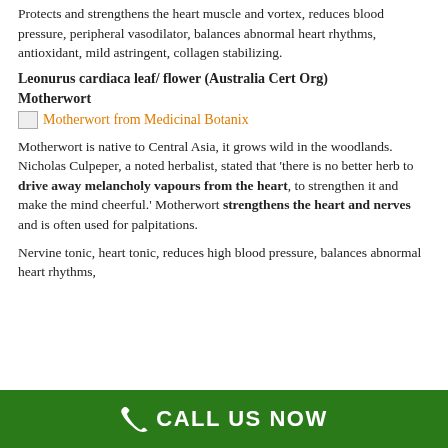Protects and strengthens the heart muscle and vortex, reduces blood pressure, peripheral vasodilator, balances abnormal heart rhythms, antioxidant, mild astringent, collagen stabilizing.
Leonurus cardiaca leaf/ flower (Australia Cert Org)
Motherwort
[Figure (other): Broken image placeholder linking to Motherwort from Medicinal Botanix]
Motherwort is native to Central Asia, it grows wild in the woodlands. Nicholas Culpeper, a noted herbalist, stated that ‘there is no better herb to drive away melancholy vapours from the heart, to strengthen it and make the mind cheerful.’ Motherwort strengthens the heart and nerves and is often used for palpitations.
Nervine tonic, heart tonic, reduces high blood pressure, balances abnormal heart rhythms,
CALL US NOW